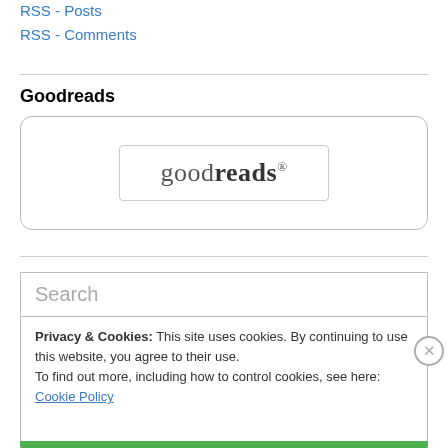RSS - Posts
RSS - Comments
Goodreads
[Figure (logo): Goodreads logo with rounded rectangle border, text reads 'goodreads' with lighter first four letters and bold 'reads' portion]
Search
Privacy & Cookies: This site uses cookies. By continuing to use this website, you agree to their use.
To find out more, including how to control cookies, see here: Cookie Policy
Close and accept